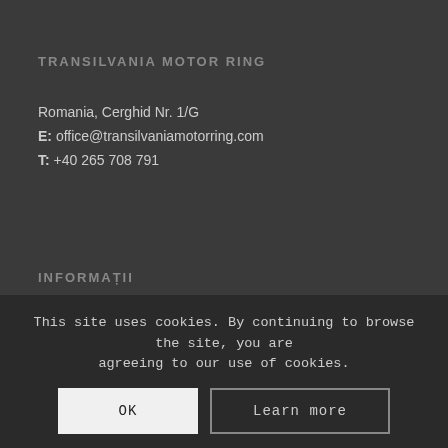TRANSILVANIA MOTOR RING
Romania, Cerghid Nr. 1/G
E: office@transilvaniamotorring.com
T: +40 265 708 791
INFORMAȚII
Știri
Contact
Regulament
Tarife
This site uses cookies. By continuing to browse the site, you are agreeing to our use of cookies.
OK
Learn more